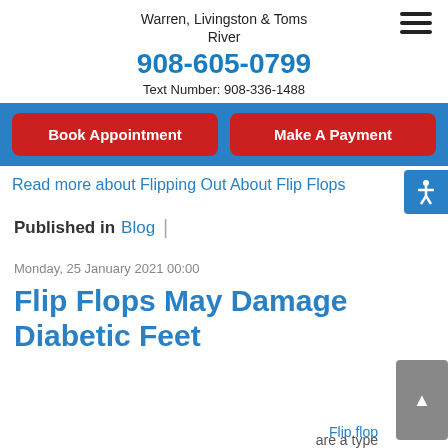Warren, Livingston & Toms River
908-605-0799
Text Number: 908-336-1488
Book Appointment
Make A Payment
Read more about Flipping Out About Flip Flops
Published in Blog
Monday, 25 January 2021 00:00
Flip Flops May Damage Diabetic Feet
Flip flop
are a type